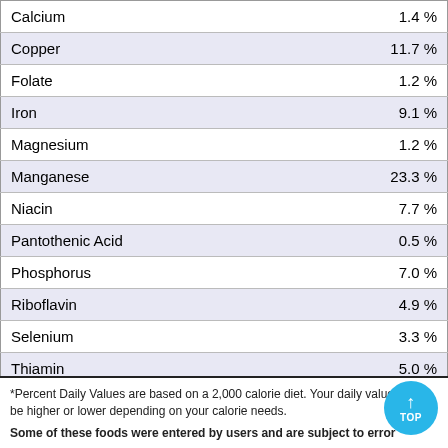| Nutrient | % Daily Value |
| --- | --- |
| Calcium | 1.4 % |
| Copper | 11.7 % |
| Folate | 1.2 % |
| Iron | 9.1 % |
| Magnesium | 1.2 % |
| Manganese | 23.3 % |
| Niacin | 7.7 % |
| Pantothenic Acid | 0.5 % |
| Phosphorus | 7.0 % |
| Riboflavin | 4.9 % |
| Selenium | 3.3 % |
| Thiamin | 5.0 % |
| Zinc | 15.5 % |
*Percent Daily Values are based on a 2,000 calorie diet. Your daily values may be higher or lower depending on your calorie needs.
Some of these foods were entered by users and are subject to error